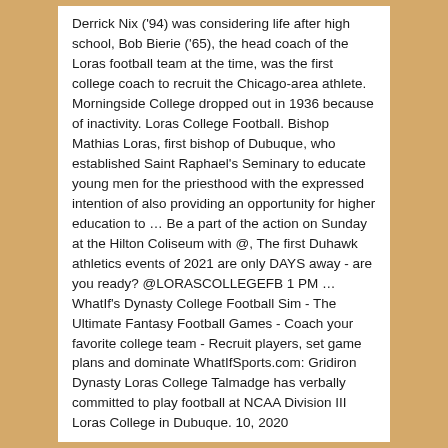Derrick Nix ('94) was considering life after high school, Bob Bierie ('65), the head coach of the Loras football team at the time, was the first college coach to recruit the Chicago-area athlete. Morningside College dropped out in 1936 because of inactivity. Loras College Football. Bishop Mathias Loras, first bishop of Dubuque, who established Saint Raphael's Seminary to educate young men for the priesthood with the expressed intention of also providing an opportunity for higher education to … Be a part of the action on Sunday at the Hilton Coliseum with @, The first Duhawk athletics events of 2021 are only DAYS away - are you ready? @LORASCOLLEGEFB 1 PM … WhatIf's Dynasty College Football Sim - The Ultimate Fantasy Football Games - Coach your favorite college team - Recruit players, set game plans and dominate WhatIfSports.com: Gridiron Dynasty Loras College Talmadge has verbally committed to play football at NCAA Division III Loras College in Dubuque. 10, 2020